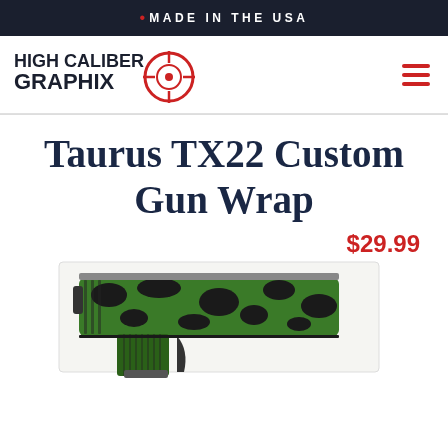MADE IN THE USA
[Figure (logo): High Caliber Graphix logo with crosshair target graphic and stylized text in black and red]
Taurus TX22 Custom Gun Wrap
$29.99
[Figure (photo): Taurus TX22 pistol with green and black camouflage custom gun wrap applied]